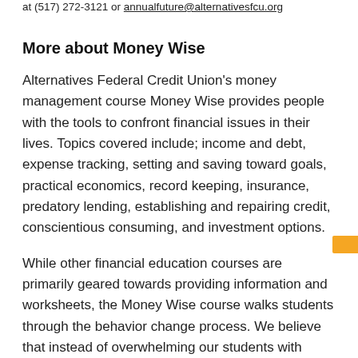at (517) 272-3121 or annualfuture@alternativesfcu.org
More about Money Wise
Alternatives Federal Credit Union's money management course Money Wise provides people with the tools to confront financial issues in their lives. Topics covered include; income and debt, expense tracking, setting and saving toward goals, practical economics, record keeping, insurance, predatory lending, establishing and repairing credit, conscientious consuming, and investment options.
While other financial education courses are primarily geared towards providing information and worksheets, the Money Wise course walks students through the behavior change process. We believe that instead of overwhelming our students with templates to solve their financial troubles, we identify the individual as the instrument of change. Money Wise requires only one task — tracking expenses. Our goal